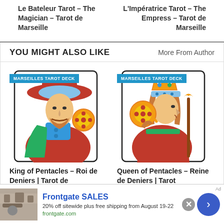Le Bateleur Tarot – The Magician – Tarot de Marseille
L'Impératrice Tarot – The Empress – Tarot de Marseille
YOU MIGHT ALSO LIKE
More From Author
[Figure (photo): Tarot card image of King figure with hat and pentacle symbol, labeled MARSEILLES TAROT DECK]
King of Pentacles – Roi de Deniers | Tarot de Marseille
[Figure (photo): Tarot card image of Queen figure holding pentacle disc and scepter, labeled MARSEILLES TAROT DECK]
Queen of Pentacles – Reine de Deniers | Tarot de Marseille
Frontgate SALES
20% off sitewide plus free shipping from August 19-22
frontgate.com